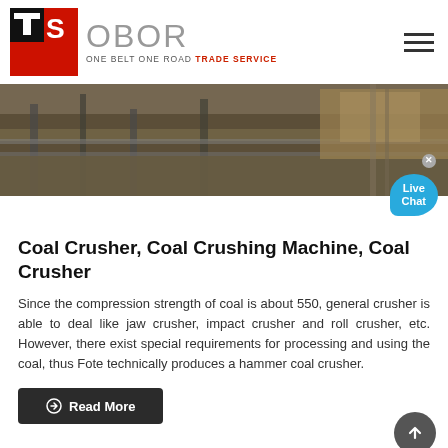[Figure (logo): TS OBOR - One Belt One Road Trade Service logo with red/black TS icon and gray OBOR text]
[Figure (photo): Industrial coal crushing machinery/conveyor equipment at a mining or processing site]
Coal Crusher, Coal Crushing Machine, Coal Crusher
Since the compression strength of coal is about 550, general crusher is able to deal like jaw crusher, impact crusher and roll crusher, etc. However, there exist special requirements for processing and using the coal, thus Fote technically produces a hammer coal crusher.
Read More